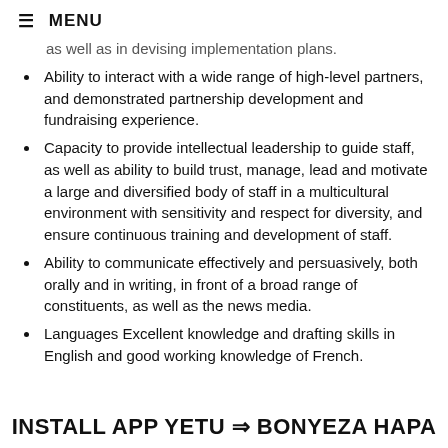≡ MENU
as well as in devising implementation plans.
Ability to interact with a wide range of high-level partners, and demonstrated partnership development and fundraising experience.
Capacity to provide intellectual leadership to guide staff, as well as ability to build trust, manage, lead and motivate a large and diversified body of staff in a multicultural environment with sensitivity and respect for diversity, and ensure continuous training and development of staff.
Ability to communicate effectively and persuasively, both orally and in writing, in front of a broad range of constituents, as well as the news media.
Languages Excellent knowledge and drafting skills in English and good working knowledge of French.
INSTALL APP YETU ⇒ BONYEZA HAPA